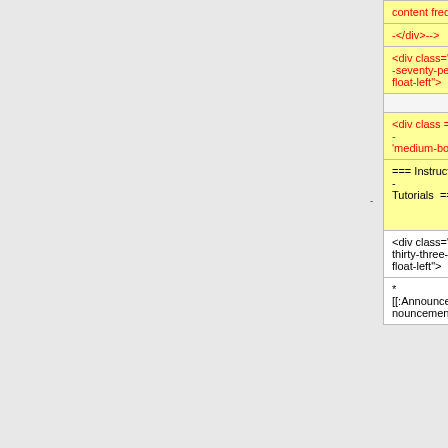| Old version | New version |
| --- | --- |
| content frequently. |  |
| -</div>--> |  |
| <div class="width--seventy-percent float-left"> |  |
|  |  |
| <div class = -
'medium-box'> |  |
| === Instructor -
Tutorials === | === <span style="color:#E56717;">e-Learning in
Sakai Instructor
Tutorials </span>
=== |
| <div class="width-thirty-three-percent float-left"> | <div class="width-thirty-three-percent float-left"> |
| *
[[:Announcements|Announcements]] | *
[[:Announcements|Announcements]] |